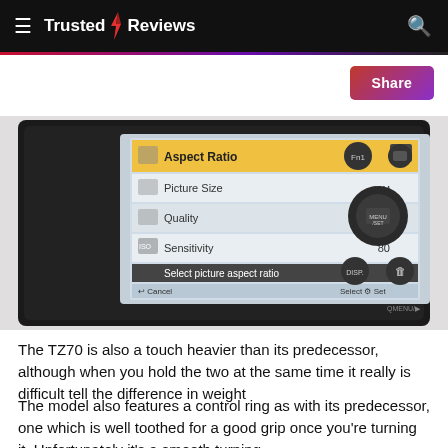Trusted Reviews
[Figure (photo): Back of Panasonic TZ70 camera showing the menu screen with Aspect Ratio selected (4:3), Picture Size (12M), Quality (RAW), Sensitivity (80), with control buttons visible on the right side of the camera body.]
The TZ70 is also a touch heavier than its predecessor, although when you hold the two at the same time it really is difficult tell the difference in weight
The model also features a control ring as with its predecessor, one which is well toothed for a good grip once you're turning it. Unfortunately it's a smooth turning